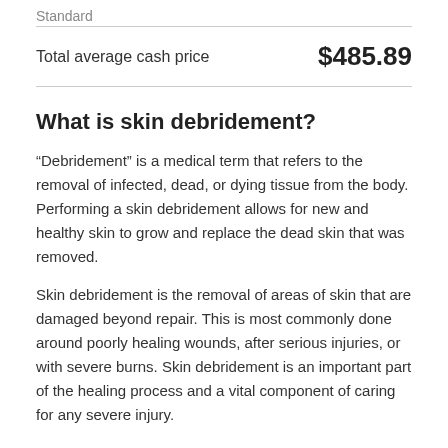Standard
Total average cash price    $485.89
What is skin debridement?
“Debridement” is a medical term that refers to the removal of infected, dead, or dying tissue from the body. Performing a skin debridement allows for new and healthy skin to grow and replace the dead skin that was removed.
Skin debridement is the removal of areas of skin that are damaged beyond repair. This is most commonly done around poorly healing wounds, after serious injuries, or with severe burns. Skin debridement is an important part of the healing process and a vital component of caring for any severe injury.